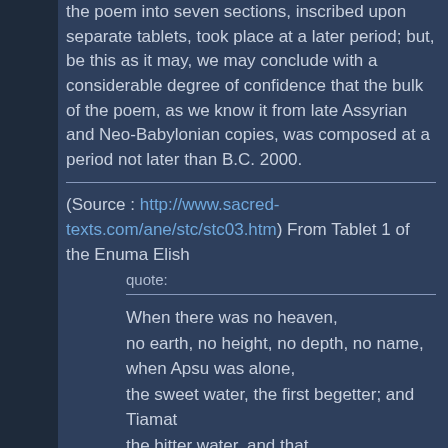the poem into seven sections, inscribed upon separate tablets, took place at a later period; but, be this as it may, we may conclude with a considerable degree of confidence that the bulk of the poem, as we know it from late Assyrian and Neo-Babylonian copies, was composed at a period not later than B.C. 2000.
(Source : http://www.sacred-texts.com/ane/stc/stc03.htm) From Tablet 1 of the Enuma Elish
quote:
When there was no heaven,
no earth, no height, no depth, no name,
when Apsu was alone,
the sweet water, the first begetter; and Tiamat
the bitter water, and that
return to the womb, her Mummu,
when there were no gods,